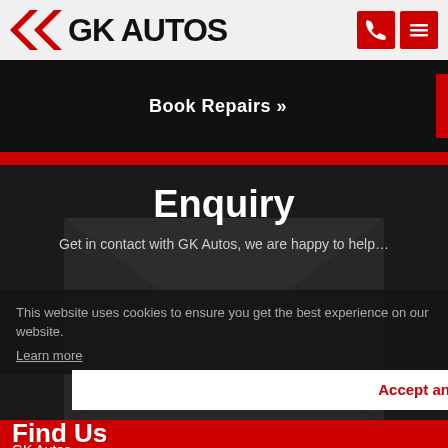[Figure (logo): GK Autos logo with red double chevron arrows and bold black GK AUTOS text, plus red phone and menu icon buttons in header]
Book Repairs »
Enquiry
Get in contact with GK Autos, we are happy to help…
This website uses cookies to ensure you get the best experience on our website.
Learn more
Get in Touch »
Accept and continue
Find Us
GK Autos